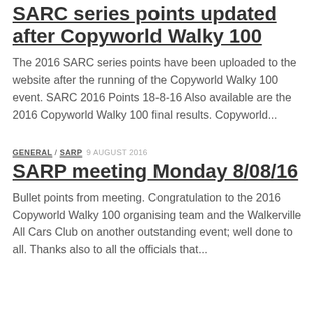SARC series points updated after Copyworld Walky 100
The 2016 SARC series points have been uploaded to the website after the running of the Copyworld Walky 100 event. SARC 2016 Points 18-8-16 Also available are the 2016 Copyworld Walky 100 final results. Copyworld...
GENERAL / SARP  9 AUGUST 2016
SARP meeting Monday 8/08/16
Bullet points from meeting. Congratulation to the 2016 Copyworld Walky 100 organising team and the Walkerville All Cars Club on another outstanding event; well done to all. Thanks also to all the officials that...